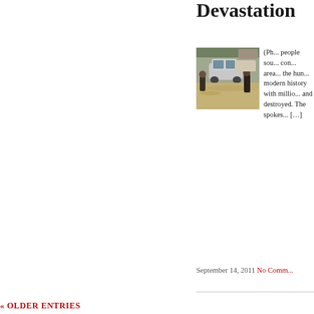Devastation
[Figure (photo): People wading through flood waters next to a car in a flooded street]
(Ph... people sou... con... area... the hun... modern history with millio... and destroyed. The spokes... […]
September 14, 2011 No Comm...
« OLDER ENTRIES